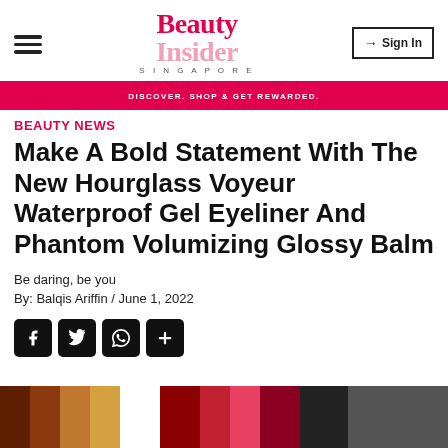Beauty Insider Singapore — DISCOVER. SHOP & GET REWARDED.
BEAUTY NEWS
Make A Bold Statement With The New Hourglass Voyeur Waterproof Gel Eyeliner And Phantom Volumizing Glossy Balm
Be daring, be you
By: Balqis Ariffin / June 1, 2022
[Figure (other): Social sharing icons: Facebook, Twitter, WhatsApp, and a plus/share button]
[Figure (photo): Partial preview of product image at bottom of page showing makeup products in warm tones]